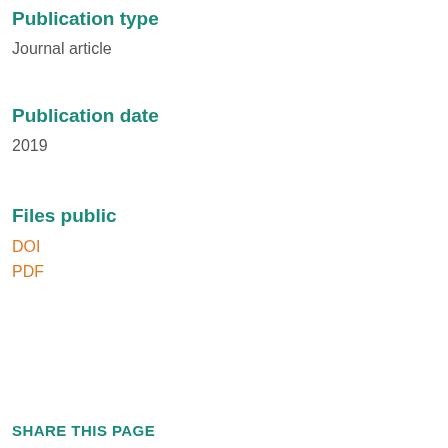Publication type
Journal article
Publication date
2019
Files public
DOI
PDF
SHARE THIS PAGE